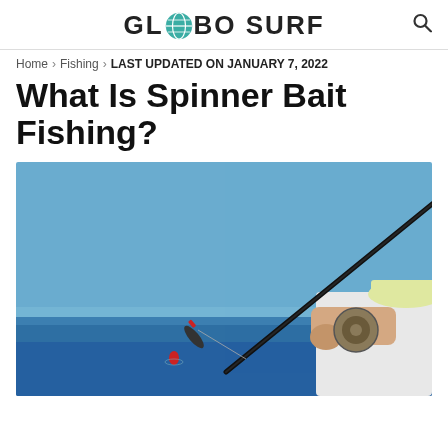GLOBO SURF
Home > Fishing > LAST UPDATED ON JANUARY 7, 2022
What Is Spinner Bait Fishing?
[Figure (photo): A person holding a fishing rod and reel with a fish flying through the air against a blue ocean and sky background. The angler wears a white shirt and light-colored cap.]